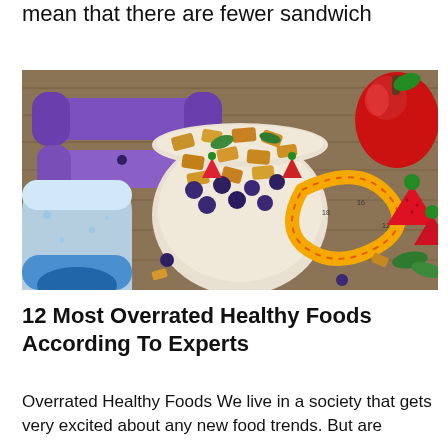mean that there are fewer sandwich
[Figure (photo): A flat lay photo showing purple dumbbells, a water bottle with blue cap, a white bowl filled with cereal, blueberries, strawberries, a tape measure coiled around the bowl, a red apple, strawberries, and mint leaves on a wooden surface.]
12 Most Overrated Healthy Foods According To Experts
Overrated Healthy Foods We live in a society that gets very excited about any new food trends. But are